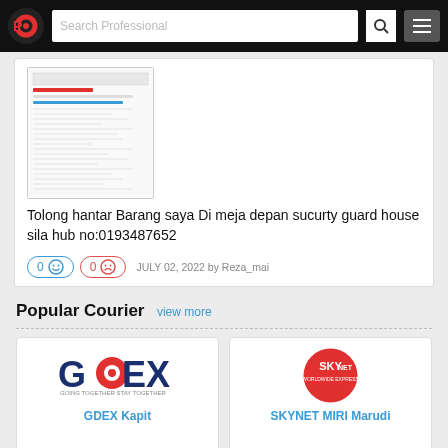Search Professional
[Figure (screenshot): Thumbnail screenshot of a document or form page]
Tolong hantar Barang saya Di meja depan sucurty guard house sila hub no:0193487652
0 😊  0 ☹  JULY 02, 2022 by Reza_mai
Popular Courier view more
[Figure (logo): GDEX courier logo]
GDEX Kapit
[Figure (logo): SKYNET red circle logo]
SKYNET MIRI Marudi